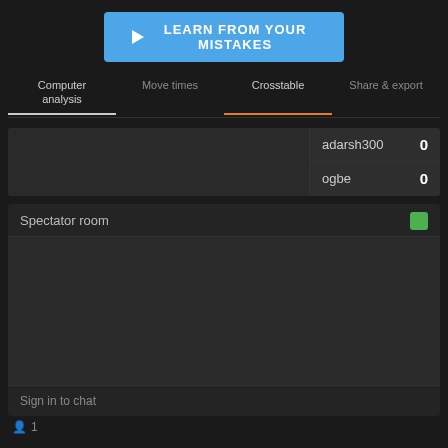[Figure (other): Blue button with play triangle icon and text LEARN FROM YOUR MISTAKES]
Computer analysis | Move times | Crosstable | Share & export
| Player | Score |
| --- | --- |
| adarsh300 | 0 |
| ogbe | 0 |
Spectator room
Sign in to chat
1